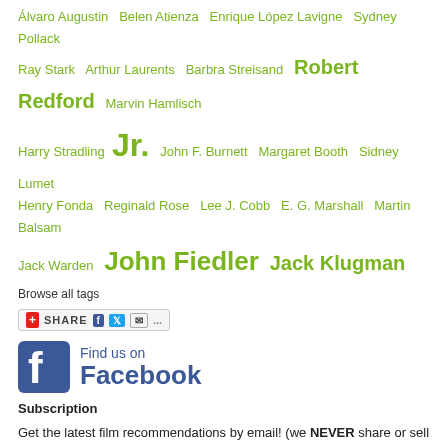Álvaro Augustin  Belen Atienza  Enrique López Lavigne  Sydney Pollack  Ray Stark  Arthur Laurents  Barbra Streisand  Robert Redford  Marvin Hamlisch  Harry Stradling Jr.  John F. Burnett  Margaret Booth  Sidney Lumet  Henry Fonda  Reginald Rose  Lee J. Cobb  E. G. Marshall  Martin Balsam  Jack Warden  John Fiedler  Jack Klugman
Browse all tags
[Figure (screenshot): Social share bar with +SHARE button and Facebook, Twitter, email icons]
[Figure (logo): Find us on Facebook logo/badge]
Subscription
Get the latest film recommendations by email! (we NEVER share or sell emails to marketers)
Enter email address
Subscribe